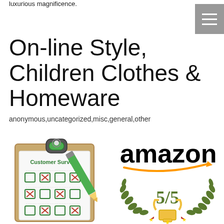luxurious magnificence.
On-line Style, Children Clothes & Homeware
anonymous,uncategorized,misc,general,other
[Figure (illustration): Customer Surveys clipboard illustration with checkboxes and pencil]
[Figure (logo): Amazon logo with smile arrow]
[Figure (illustration): 5/5 rating badge with laurel wreath and trophy]